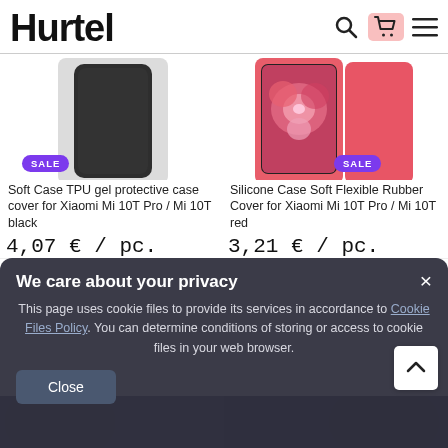[Figure (logo): Hurtel logo in bold black text with search, cart, and menu icons]
[Figure (photo): Soft Case TPU gel protective case cover for Xiaomi Mi 10T Pro / Mi 10T black - product image showing black phone case]
Soft Case TPU gel protective case cover for Xiaomi Mi 10T Pro / Mi 10T black
4,07 € / pc.
[Figure (photo): Silicone Case Soft Flexible Rubber Cover for Xiaomi Mi 10T Pro / Mi 10T red - product image showing red phone case]
Silicone Case Soft Flexible Rubber Cover for Xiaomi Mi 10T Pro / Mi 10T red
3,21 € / pc.
We care about your privacy
This page uses cookie files to provide its services in accordance to Cookie Files Policy. You can determine conditions of storing or access to cookie files in your web browser.
Close